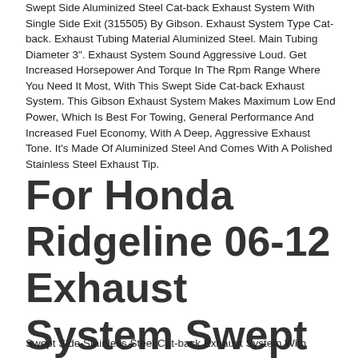Swept Side Aluminized Steel Cat-back Exhaust System With Single Side Exit (315505) By Gibson. Exhaust System Type Cat-back. Exhaust Tubing Material Aluminized Steel. Main Tubing Diameter 3". Exhaust System Sound Aggressive Loud. Get Increased Horsepower And Torque In The Rpm Range Where You Need It Most, With This Swept Side Cat-back Exhaust System. This Gibson Exhaust System Makes Maximum Low End Power, Which Is Best For Towing, General Performance And Increased Fuel Economy, With A Deep, Aggressive Exhaust Tone. It's Made Of Aluminized Steel And Comes With A Polished Stainless Steel Exhaust Tip.
For Honda Ridgeline 06-12 Exhaust System Swept Side Stainless Steel Cat-back
Swept Side Stainless Steel Cat-back Exhaust System With